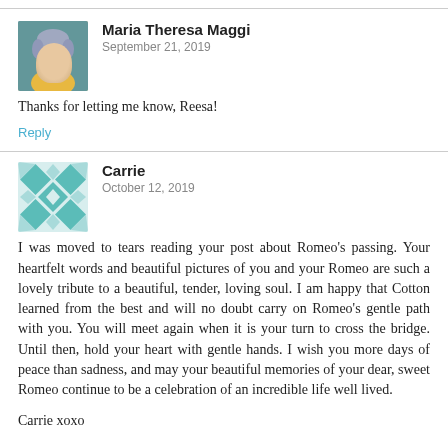[Figure (photo): Avatar photo of Maria Theresa Maggi, a woman with short gray/blue hair]
Maria Theresa Maggi
September 21, 2019
Thanks for letting me know, Reesa!
Reply
[Figure (illustration): Avatar image for Carrie with a teal geometric diamond/quilt pattern]
Carrie
October 12, 2019
I was moved to tears reading your post about Romeo's passing. Your heartfelt words and beautiful pictures of you and your Romeo are such a lovely tribute to a beautiful, tender, loving soul. I am happy that Cotton learned from the best and will no doubt carry on Romeo's gentle path with you. You will meet again when it is your turn to cross the bridge. Until then, hold your heart with gentle hands. I wish you more days of peace than sadness, and may your beautiful memories of your dear, sweet Romeo continue to be a celebration of an incredible life well lived.
Carrie xoxo